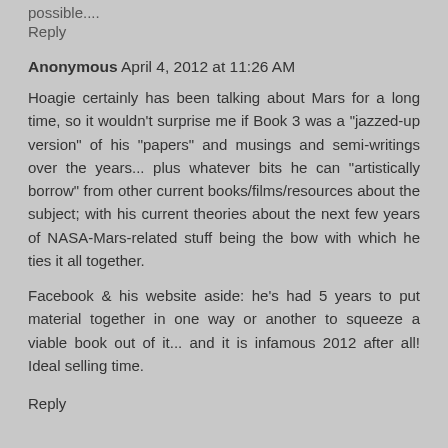possible....
Reply
Anonymous April 4, 2012 at 11:26 AM
Hoagie certainly has been talking about Mars for a long time, so it wouldn't surprise me if Book 3 was a "jazzed-up version" of his "papers" and musings and semi-writings over the years... plus whatever bits he can "artistically borrow" from other current books/films/resources about the subject; with his current theories about the next few years of NASA-Mars-related stuff being the bow with which he ties it all together.
Facebook & his website aside: he's had 5 years to put material together in one way or another to squeeze a viable book out of it... and it is infamous 2012 after all! Ideal selling time.
Reply